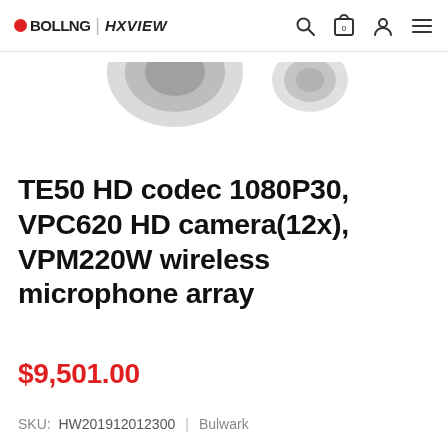OBOLLNG | HXVIEW
[Figure (photo): Partial product image showing camera components on white background]
TE50 HD codec 1080P30, VPC620 HD camera(12x), VPM220W wireless microphone array
$9,501.00
SKU: HW201912012300 | Bulwark